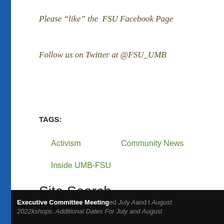Please “like” the FSU Facebook Page
Follow us on Twitter at @FSU_UMB
TAGS:
Activism
Community News
Inside UMB-FSU
Site Search
Executive Committee Meeting ...July A and t August 2022 ...kshops. Additional Dates For July and August